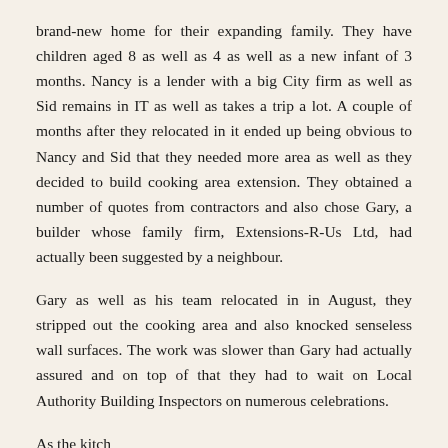brand-new home for their expanding family. They have children aged 8 as well as 4 as well as a new infant of 3 months. Nancy is a lender with a big City firm as well as Sid remains in IT as well as takes a trip a lot. A couple of months after they relocated in it ended up being obvious to Nancy and Sid that they needed more area as well as they decided to build cooking area extension. They obtained a number of quotes from contractors and also chose Gary, a builder whose family firm, Extensions-R-Us Ltd, had actually been suggested by a neighbour.
Gary as well as his team relocated in in August, they stripped out the cooking area and also knocked senseless wall surfaces. The work was slower than Gary had actually assured and on top of that they had to wait on Local Authority Building Inspectors on numerous celebrations.
As the kitchen was reconstructed Nancy noticed...